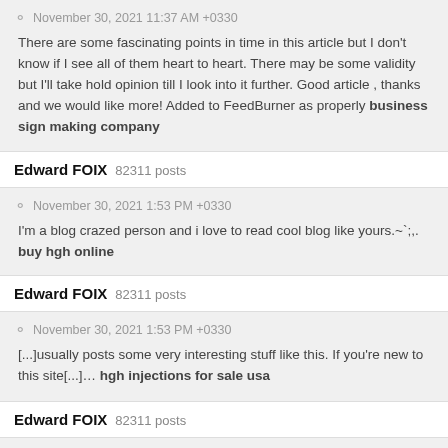November 30, 2021 11:37 AM +0330
There are some fascinating points in time in this article but I don’t know if I see all of them heart to heart. There may be some validity but I’ll take hold opinion till I look into it further. Good article , thanks and we would like more! Added to FeedBurner as properly business sign making company
Edward FOIX  82311 posts
November 30, 2021 1:53 PM +0330
I’m a blog crazed person and i love to read cool blog like yours.˜ˈ;,. buy hgh online
Edward FOIX  82311 posts
November 30, 2021 1:53 PM +0330
[...]usually posts some very interesting stuff like this. If you’re new to this site[...]… hgh injections for sale usa
Edward FOIX  82311 posts
December 1, 2021 3:33 PM +0330